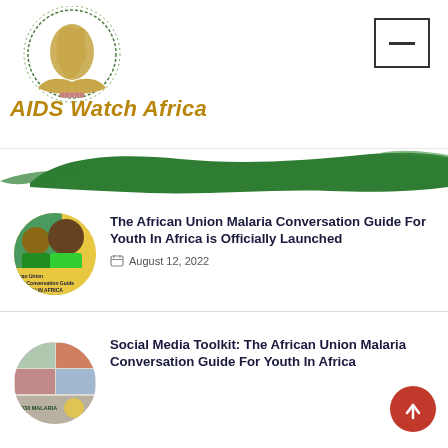[Figure (logo): AIDS Watch Africa logo with African continent silhouette in gold, surrounded by a green laurel wreath circle, with gold cupped hands below]
AIDS Watch Africa
[Figure (illustration): Green paint brush stroke banner]
[Figure (photo): Circular thumbnail showing two smiling people on a yellow background with text 'can Union ria Conversation Guide YOUTH IN AFRICA']
The African Union Malaria Conversation Guide For Youth In Africa is Officially Launched
August 12, 2022
[Figure (photo): Circular thumbnail showing a collage of images related to malaria toolkit with text '2030 MALARIA']
Social Media Toolkit: The African Union Malaria Conversation Guide For Youth In Africa